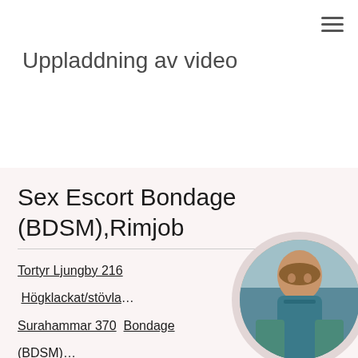≡
Uppladdning av video
Sex Escort Bondage (BDSM),Rimjob
Tortyr Ljungby 216  Högklackat/stövlar... Surahammar 370  Bondage (BDSM)... 212  Svensexa Alvesta 350  Högklackat/stövlar...
[Figure (photo): Circular cropped photo of a woman in a teal/blue outfit, positioned in the bottom right corner of the card section]